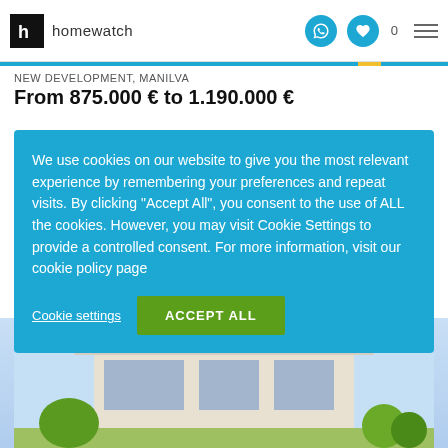homewatch
NEW DEVELOPMENT, MANILVA
From 875.000 € to 1.190.000 €
We use cookies on our website to give you the most relevant experience by remembering your preferences and repeat visits. By clicking “Accept All”, you consent to the use of ALL the cookies. However, you may visit Cookie Settings to provide a controlled consent. For more information, visit our cookie policy page
[Figure (photo): Modern villa building with flat roof and pergola elements against a light blue sky]